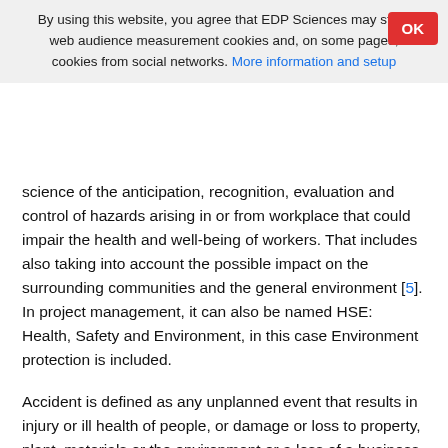By using this website, you agree that EDP Sciences may store web audience measurement cookies and, on some pages, cookies from social networks. More information and setup
science of the anticipation, recognition, evaluation and control of hazards arising in or from workplace that could impair the health and well-being of workers. That includes also taking into account the possible impact on the surrounding communities and the general environment [5]. In project management, it can also be named HSE: Health, Safety and Environment, in this case Environment protection is included.
Accident is defined as any unplanned event that results in injury or ill health of people, or damage or loss to property, plant, materials or the environment or a loss of a business opportunity [6].
Near Miss is an event not causing harm, but has the potential to cause injury or ill health [6].
A hazard is the potential of a substance, activity or process to cause harm [6]. In fact, Water on a staircase can constitute a